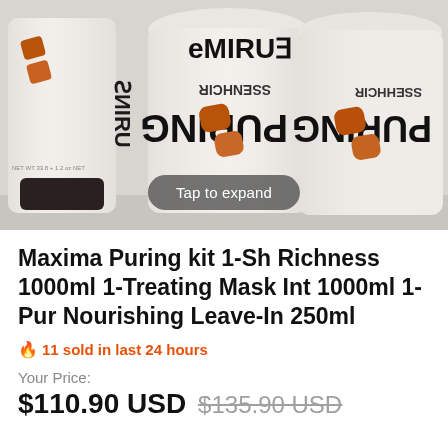[Figure (photo): Three white Maxima Puring hair product bottles (Richness shampoo, Richness treatment mask, Richness leave-in) shown upside down or at angle, with brown leaf logo marks. A dark rounded button overlay reads 'Tap to expand'.]
Maxima Puring kit 1-Sh Richness 1000ml 1-Treating Mask Int 1000ml 1-Pur Nourishing Leave-In 250ml
🔥 11 sold in last 24 hours
Your Price:
$110.90 USD $135.90 USD